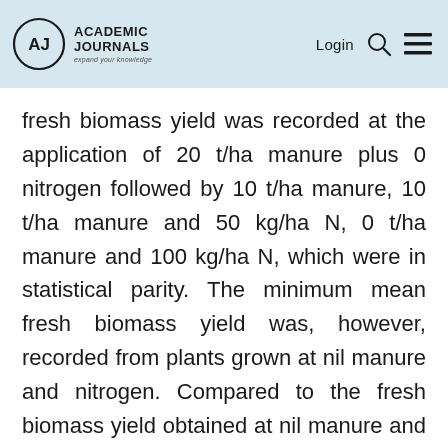Academic Journals — expand your knowledge | Login
fresh biomass yield was recorded at the application of 20 t/ha manure plus 0 nitrogen followed by 10 t/ha manure, 10 t/ha manure and 50 kg/ha N, 0 t/ha manure and 100 kg/ha N, which were in statistical parity. The minimum mean fresh biomass yield was, however, recorded from plants grown at nil manure and nitrogen. Compared to the fresh biomass yield obtained at nil manure and nitrogen, the fresh biomass yield obtained at 20 t/ha manure alone and 10 t/ha manure and 50 kg/ha N increased by about 56 and 35%, respectively (Table 3).